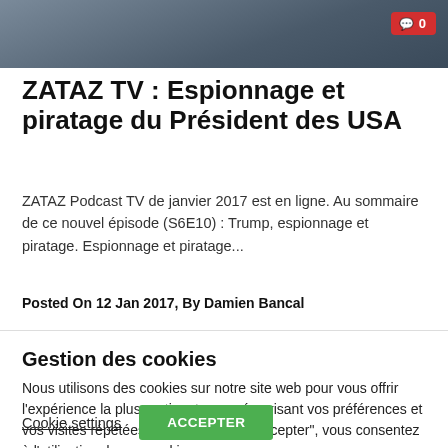[Figure (photo): Partial screenshot of a video or photo with a red comment badge showing '0' in the top right corner]
ZATAZ TV : Espionnage et piratage du Président des USA
ZATAZ Podcast TV de janvier 2017 est en ligne. Au sommaire de ce nouvel épisode (S6E10) : Trump, espionnage et piratage. Espionnage et piratage...
Posted On 12 Jan 2017, By Damien Bancal
Gestion des cookies
Nous utilisons des cookies sur notre site web pour vous offrir l'expérience la plus pertinente en mémorisant vos préférences et vos visites répétées. En cliquant sur "Accepter", vous consentez à l'utilisation de ces cookies.
Cookie settings  ACCEPTER